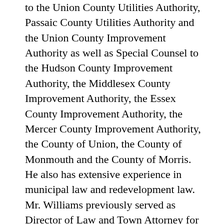to the Union County Utilities Authority, Passaic County Utilities Authority and the Union County Improvement Authority as well as Special Counsel to the Hudson County Improvement Authority, the Middlesex County Improvement Authority, the Essex County Improvement Authority, the Mercer County Improvement Authority, the County of Union, the County of Monmouth and the County of Morris. He also has extensive experience in municipal law and redevelopment law. Mr. Williams previously served as Director of Law and Town Attorney for the municipalities of Morristown and Marlboro. He currently serves as General Counsel to the City of Elizabeth Board of Education.